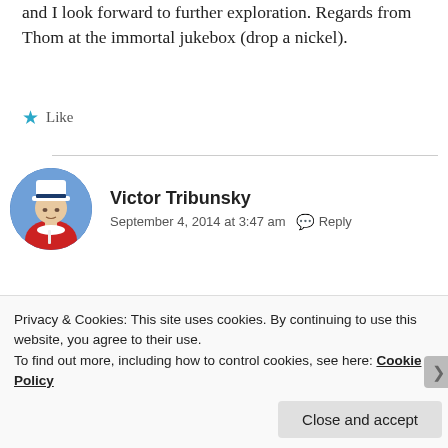and I look forward to further exploration. Regards from Thom at the immortal jukebox (drop a nickel).
★ Like
[Figure (photo): Circular avatar photo of Victor Tribunsky wearing a white captain's hat and red shirt]
Victor Tribunsky
September 4, 2014 at 3:47 am  Reply
Welcome aboard, Tom.
★ Liked by 1 person
Privacy & Cookies: This site uses cookies. By continuing to use this website, you agree to their use.
To find out more, including how to control cookies, see here: Cookie Policy
Close and accept